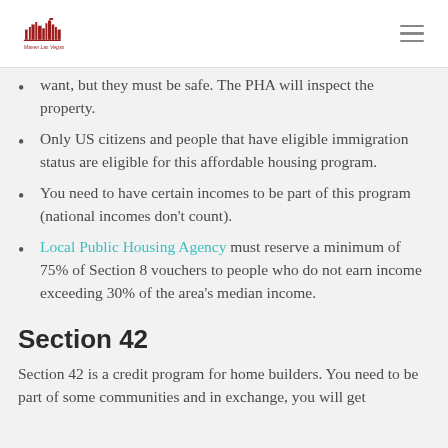Maven Las Vegas
want, but they must be safe. The PHA will inspect the property.
Only US citizens and people that have eligible immigration status are eligible for this affordable housing program.
You need to have certain incomes to be part of this program (national incomes don't count).
Local Public Housing Agency must reserve a minimum of 75% of Section 8 vouchers to people who do not earn income exceeding 30% of the area's median income.
Section 42
Section 42 is a credit program for home builders. You need to be part of some communities and in exchange, you will get